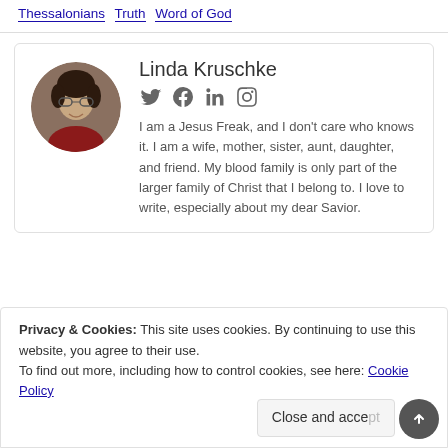Thessalonians  Truth  Word of God
[Figure (photo): Circular author photo of Linda Kruschke, a woman with glasses and dark hair wearing a red top]
Linda Kruschke
[Figure (infographic): Social media icons: Twitter, Facebook, LinkedIn, Instagram]
I am a Jesus Freak, and I don't care who knows it. I am a wife, mother, sister, aunt, daughter, and friend. My blood family is only part of the larger family of Christ that I belong to. I love to write, especially about my dear Savior.
Privacy & Cookies: This site uses cookies. By continuing to use this website, you agree to their use.
To find out more, including how to control cookies, see here: Cookie Policy
Close and accept